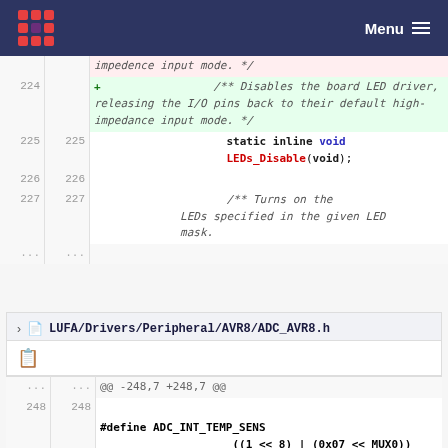Menu
|  |  | impedence input mode. */ |
| 224 |  | + /** Disables the board LED driver, releasing the I/O pins back to their default high-impedance input mode. */ |
| 225 | 225 | static inline void LEDs_Disable(void); |
| 226 | 226 |  |
| 227 | 227 | /** Turns on the LEDs specified in the given LED mask. |
| ... | ... |  |
LUFA/Drivers/Peripheral/AVR8/ADC_AVR8.h
| ... | ... | @@ -248,7 +248,7 @@ |
| 248 | 248 |  |
|  |  | #define ADC_INT_TEMP_SENS ((1 << 8) | (0x07 << MUX0)) |